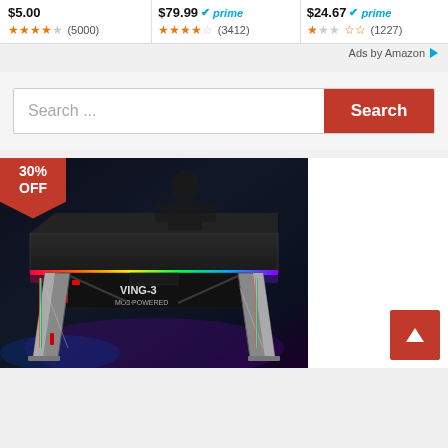$5.00 ★★★★☆ (5000)
$79.99 ✔prime ★★★★☆ (3412)
$24.67 ✔prime ★★☆ (1227)
Ads by Amazon ▶
Search ...
Search
[Figure (photo): Gaming desk with RGB lighting strip along the front edge, dark black tabletop surface, metallic legs with red accents, brand logo/text on the front panel, and a soldier character in the dark background. A red '30% OFF' badge is in the top-left corner.]
30% OFF